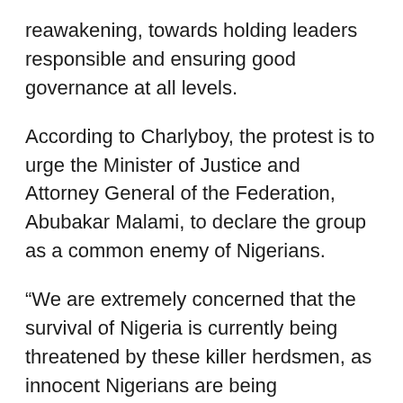reawakening, towards holding leaders responsible and ensuring good governance at all levels.
According to Charlyboy, the protest is to urge the Minister of Justice and Attorney General of the Federation, Abubakar Malami, to declare the group as a common enemy of Nigerians.
“We are extremely concerned that the survival of Nigeria is currently being threatened by these killer herdsmen, as innocent Nigerians are being slaughtered in different parts of the country on daily basis.
“In 2018 alone, hundreds of innocent Nigerians were cut down by this group, and